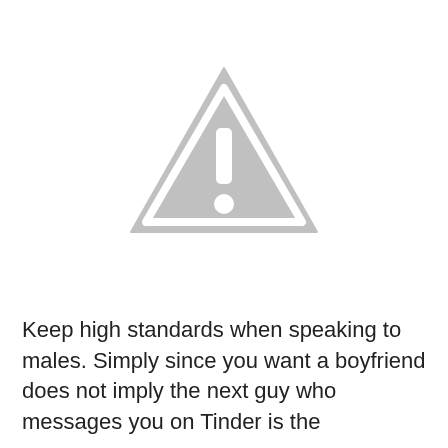[Figure (illustration): A gray warning triangle icon with a white exclamation mark inside, centered on the upper half of the page.]
Keep high standards when speaking to males. Simply since you want a boyfriend does not imply the next guy who messages you on Tinder is the